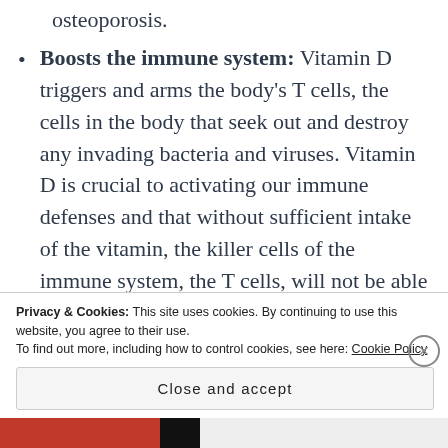Vitamin D deficiency in adults is called osteoporosis.
Boosts the immune system: Vitamin D triggers and arms the body's T cells, the cells in the body that seek out and destroy any invading bacteria and viruses. Vitamin D is crucial to activating our immune defenses and that without sufficient intake of the vitamin, the killer cells of the immune system, the T cells, will not be able to react to and fight off serious infections in the body. The T cells rely on vitamin D in order to activate and they would remain dormant to the...
Privacy & Cookies: This site uses cookies. By continuing to use this website, you agree to their use.
To find out more, including how to control cookies, see here: Cookie Policy
Close and accept